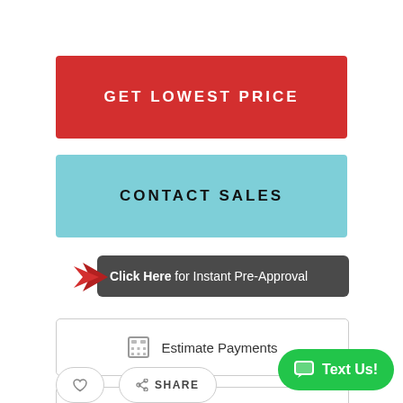[Figure (screenshot): Red button labeled GET LOWEST PRICE]
[Figure (screenshot): Teal/light blue button labeled CONTACT SALES]
[Figure (screenshot): Dark grey badge with red arrow and text: Click Here for Instant Pre-Approval]
[Figure (screenshot): Outlined button with calculator icon and text: Estimate Payments]
[Figure (screenshot): Outlined button with dollar sign icon and text: Apply for Financing]
[Figure (screenshot): Green pill-shaped Text Us! chat button in bottom right]
[Figure (screenshot): Bottom row with heart icon button and SHARE button]